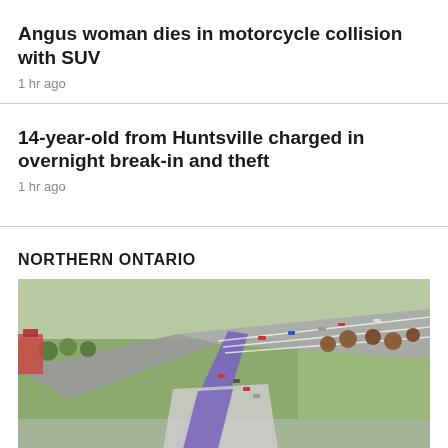Angus woman dies in motorcycle collision with SUV
1 hr ago
14-year-old from Huntsville charged in overnight break-in and theft
1 hr ago
NORTHERN ONTARIO
[Figure (photo): Aerial rendering of a highway interchange with multiple lanes and a purple/blue road design, showing cars, trees, and infrastructure in Northern Ontario]